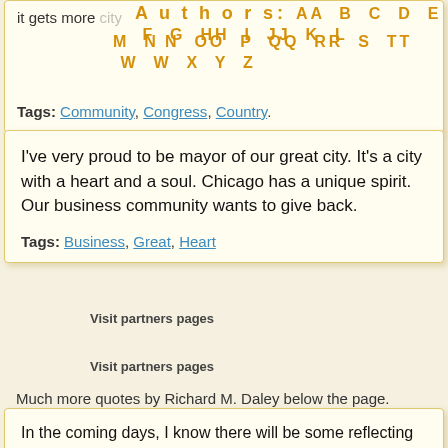it gets more Authors: A B C D E F G H I J K L M N O P Q R S T U W V X Y Z
Tags: Community, Congress, Country
I've very proud to be mayor of our great city. It's a city with a heart and a soul. Chicago has a unique spirit. Our business community wants to give back.
Tags: Business, Great, Heart
Visit partners pages
Visit partners pages
Much more quotes by Richard M. Daley below the page.
In the coming days, I know there will be some reflecting on my time as mayor. Many of you will search to find what's behind my decision. It's simple. I have always believed that every person, especially public officials, must understand